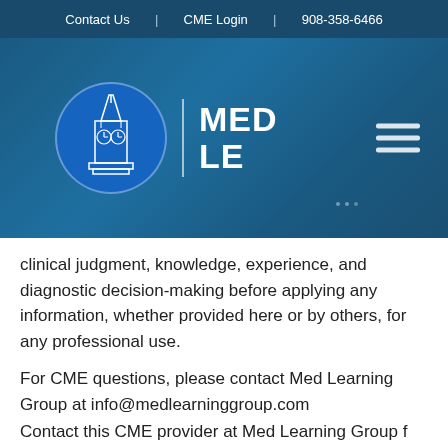Contact Us  |  CME Login  |  908-358-6466
[Figure (logo): MED LE (Med Learning Group) logo with church/bell tower building icon on blue circle background, with hamburger menu icon on right]
clinical judgment, knowledge, experience, and diagnostic decision-making before applying any information, whether provided here or by others, for any professional use.
For CME questions, please contact Med Learning Group at info@medlearninggroup.com
Contact this CME provider at Med Learning Group for privacy and confidentiality policy statement information at www.medlearninggroup.com/privacy-policy/